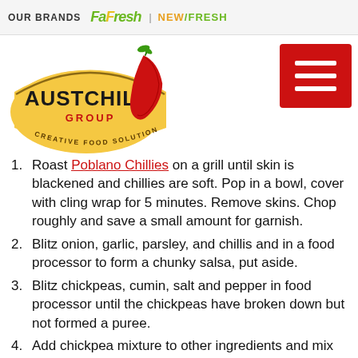OUR BRANDS | Fa Fresh | NEW FRESH
[Figure (logo): Austchilli Group - Creative Food Solutions logo with chilli pepper graphic]
1. Roast Poblano Chillies on a grill until skin is blackened and chillies are soft. Pop in a bowl, cover with cling wrap for 5 minutes. Remove skins. Chop roughly and save a small amount for garnish.
2. Blitz onion, garlic, parsley, and chillis and in a food processor to form a chunky salsa, put aside.
3. Blitz chickpeas, cumin, salt and pepper in food processor until the chickpeas have broken down but not formed a puree.
4. Add chickpea mixture to other ingredients and mix with hands, then add flour. Once all combined, pop in the fridge for 1-2 hours.
5. Once set, roll mixture into 20 balls and set